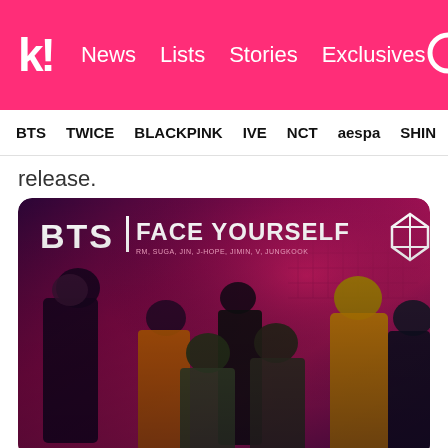k! News Lists Stories Exclusives [search]
BTS  TWICE  BLACKPINK  IVE  NCT  aespa  SHIN...
release.
[Figure (photo): BTS Face Yourself album cover showing all 7 BTS members posed against a pink/purple gradient background. Text reads 'BTS | FACE YOURSELF' with the BTS logo in the top right corner.]